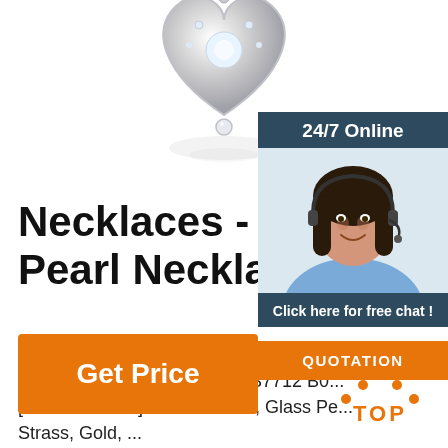[Figure (photo): Silver heart-shaped pendant with crystals, partially cropped at top of page]
24/7 Online
[Figure (photo): Customer service agent, woman with headset, smiling]
Click here for free chat !
QUOTATION
Necklaces - Chokers a Pearl Necklaces
Necklace Metal, Glass Pearls & Strass, White, Black & Crystal Ref. AB7712 B0... [add-to-wishlist] Choker Metal, Glass Pe... Strass, Gold, ...
Get Price
[Figure (logo): Orange TOP logo with dots arranged in triangle above the word TOP]